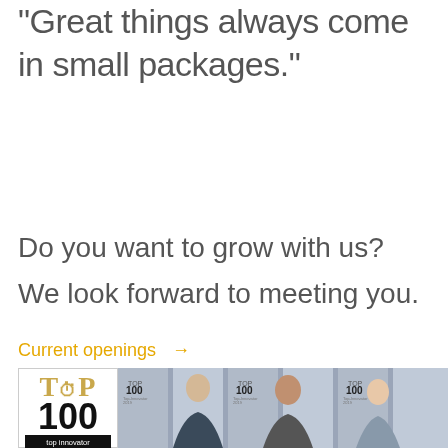"Great things always come in small packages."
Do you want to grow with us?
We look forward to meeting you.
Current openings →
[Figure (photo): TOP 100 top innovator 2019 badge alongside a photo of three people (two men and one woman) standing in front of a backdrop with TOP 100 logos]